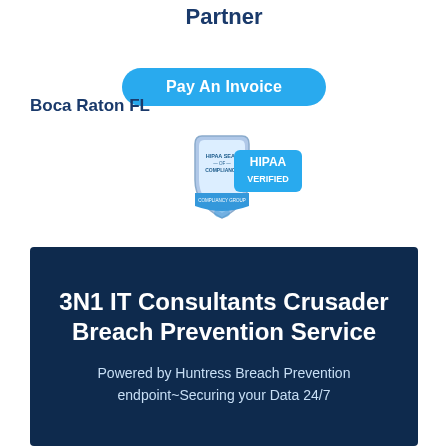Partner
Pay An Invoice
Boca Raton FL
[Figure (logo): HIPAA Seal of Compliance - HIPAA Verified badge from Compliancy Group]
3N1 IT Consultants Crusader Breach Prevention Service
Powered by Huntress Breach Prevention endpoint~Securing your Data 24/7